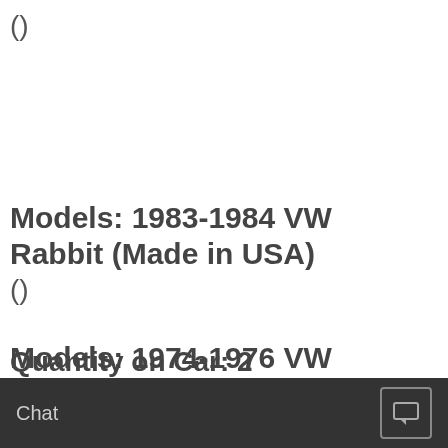()
Models: 1983-1984 VW Rabbit (Made in USA)
()
Models: 1974-1976 VW Scirocco
1
Quantity on Car: 2